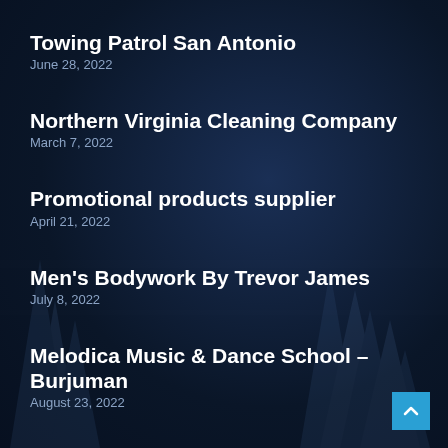Towing Patrol San Antonio
June 28, 2022
Northern Virginia Cleaning Company
March 7, 2022
Promotional products supplier
April 21, 2022
Men's Bodywork By Trevor James
July 8, 2022
Melodica Music & Dance School – Burjuman
August 23, 2022